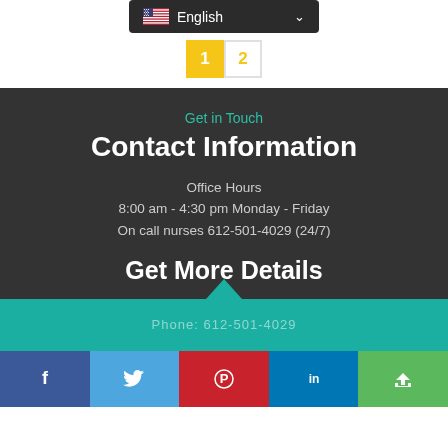[Figure (screenshot): Language selector dropdown showing US flag and 'English' text on dark background]
[Figure (screenshot): Pagination control with page 1 (yellow/active) and page 2 buttons]
Get in Touch
Contact Information
Office Hours
8:00 am - 4:30 pm Monday - Friday
On call nurses 612-501-4029 (24/7)
Get More Details
Phone:
[Figure (screenshot): Social media share buttons: Facebook, Twitter, Pinterest, LinkedIn, Share]